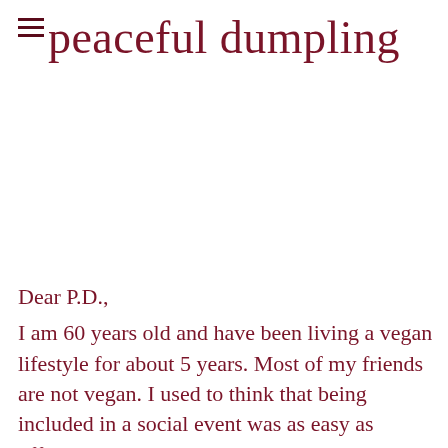peaceful dumpling
Dear P.D.,
I am 60 years old and have been living a vegan lifestyle for about 5 years. Most of my friends are not vegan. I used to think that being included in a social event was as easy as offering to bring a vegan dish to share. I recently realized that my